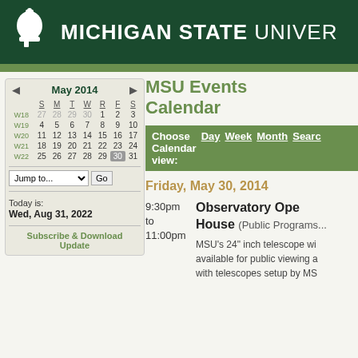MICHIGAN STATE UNIVERSITY
MSU Events Calendar
Choose Calendar view: Day Week Month Search
Friday, May 30, 2014
9:30pm to 11:00pm
Observatory Open House (Public Programs...)
MSU's 24" inch telescope will be available for public viewing and with telescopes setup by MS...
|  | S | M | T | W | R | F | S |
| --- | --- | --- | --- | --- | --- | --- | --- |
| W18 | 27 | 28 | 29 | 30 | 1 | 2 | 3 |
| W19 | 4 | 5 | 6 | 7 | 8 | 9 | 10 |
| W20 | 11 | 12 | 13 | 14 | 15 | 16 | 17 |
| W21 | 18 | 19 | 20 | 21 | 22 | 23 | 24 |
| W22 | 25 | 26 | 27 | 28 | 29 | 30 | 31 |
Today is: Wed, Aug 31, 2022
Subscribe & Download Update